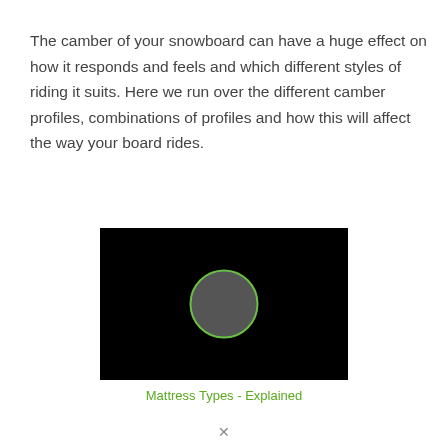The camber of your snowboard can have a huge effect on how it responds and feels and which different styles of riding it suits. Here we run over the different camber profiles, combinations of profiles and how this will affect the way your board rides.
[Figure (screenshot): Video thumbnail with black background and a gray circle with green border (play button area) centered on screen]
Mattress Types - Explained